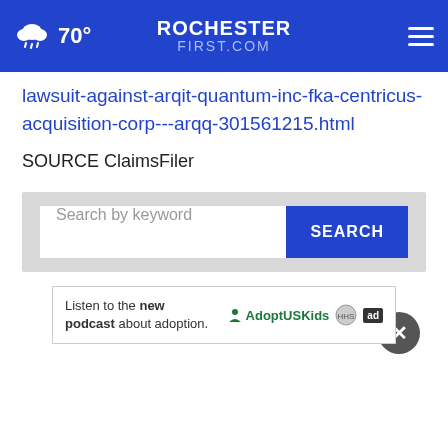ROCHESTER FIRST.COM — 70°
lawsuit-against-arqit-quantum-inc-fka-centricus-acquisition-corp---arqq-301561215.html
SOURCE ClaimsFiler
[Figure (screenshot): Search bar with 'Search by keyword' placeholder text and a blue SEARCH button]
Listen to the new podcast about adoption.